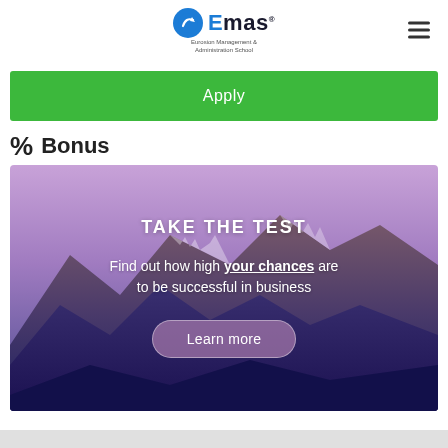[Figure (logo): Emas logo — Eurosion Management & Administration School with blue circle icon]
Apply
% Bonus
[Figure (photo): Mountain landscape with purple/blue tones at dusk, overlaid with text: TAKE THE TEST — Find out how high your chances are to be successful in business — Learn more button]